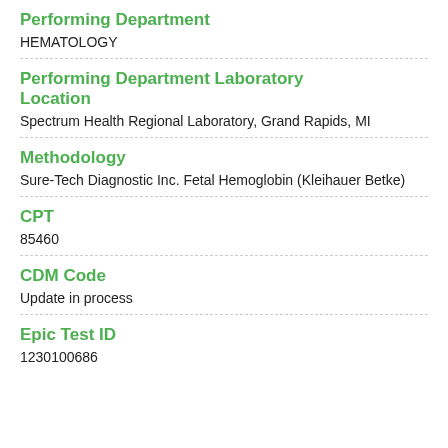Performing Department
HEMATOLOGY
Performing Department Laboratory Location
Spectrum Health Regional Laboratory, Grand Rapids, MI
Methodology
Sure-Tech Diagnostic Inc. Fetal Hemoglobin (Kleihauer Betke)
CPT
85460
CDM Code
Update in process
Epic Test ID
1230100686